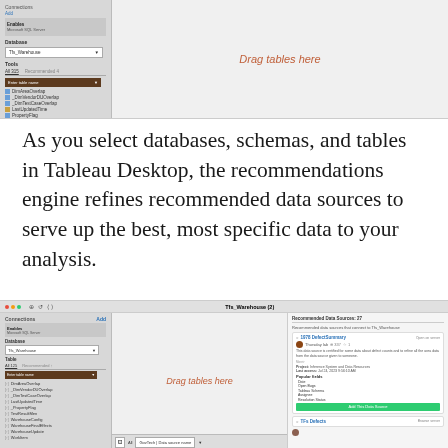[Figure (screenshot): Tableau Desktop interface screenshot showing top portion with database connection panel on left (Tfs_Warehouse selected), tools panel with table list including DimAreaOverlap, DimVendorDUOverlap, DimTestCaseOverlap, LastUpdatedTime, PropertyTag, and a right canvas area with orange italic 'Drag tables here' text]
As you select databases, schemas, and tables in Tableau Desktop, the recommendations engine refines recommended data sources to serve up the best, most specific data to your analysis.
[Figure (screenshot): Tableau Desktop interface screenshot showing Tfs_Warehouse(2) connection with full connection panel, recommended data sources panel on right showing 'Recommended Data Sources: 27' with first item '1978 DefectSummary' including user avatar, usage count 337, description text, project/last access info, popular fields (Date, Open Bugs, Tableau Schema, Assignee, Resolution Status), green Add This Data Source button, and second item 'TFs Defects']